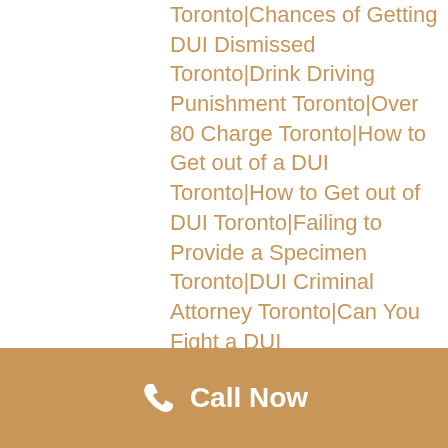Toronto|Chances of Getting DUI Dismissed Toronto|Drink Driving Punishment Toronto|Over 80 Charge Toronto|How to Get out of a DUI Toronto|How to Get out of DUI Toronto|Failing to Provide a Specimen Toronto|DUI Criminal Attorney Toronto|Can You Fight a DUI Toronto|Drinking and Driving Facts Toronto|1st Offence DUI Toronto|Ways to Beat a DUI Toronto|DUI Second Offense Toronto|Second Offense DUI Toronto|First DUI Toronto|DUI Lawyer Attorney Toronto|Second DUI Toronto|Drunk Driving Attorney Toronto|Drunk Driving Attorneys Toronto|Getting a DUI Expunged Toronto|Getting DUI Expunged Toronto|DUI Assessment Toronto|2nd Offense DUI
Call Now